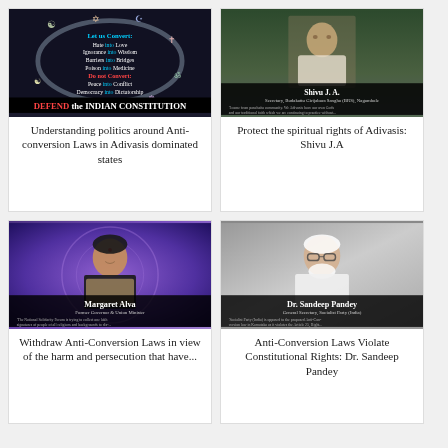[Figure (illustration): Poster with chain of religious symbols, blue/red text 'Let us Convert: Hate into Love, Ignorance into Wisdom, Barriers into Bridges, Poison into Medicine, Do not Convert: Peace into Conflict, Democracy into Dictatorship. DEFEND the INDIAN CONSTITUTION']
Understanding politics around Anti-conversion Laws in Adivasis dominated states
[Figure (photo): Photo of Shivu J. A., Secretary, Budakattu Girijabara Sangha (BRS), Nagamhole, with quote about Adivasi spiritual rights]
Protect the spiritual rights of Adivasis: Shivu J.A
[Figure (photo): Photo of Margaret Alva, Former Governor & Union Minister, with quote about National Solidarity Forum collecting signatures to dissuade Government from passing Anti-Conversion Bills]
Withdraw Anti-Conversion Laws in view of the harm and persecution that have...
[Figure (photo): Photo of Dr. Sandeep Pandey, General Secretary, Socialist Party (India), with quote about Anti-Conversion law in Karnataka violating Article 25]
Anti-Conversion Laws Violate Constitutional Rights: Dr. Sandeep Pandey